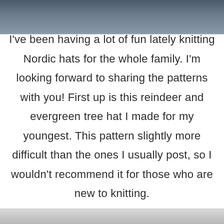[Figure (photo): Top portion of a photo showing a child in a denim jacket, partially cropped]
I've been having a lot of fun lately knitting Nordic hats for the whole family. I'm looking forward to sharing the patterns with you! First up is this reindeer and evergreen tree hat I made for my youngest. This pattern slightly more difficult than the ones I usually post, so I wouldn't recommend it for those who are new to knitting.
[Figure (photo): Bottom portion of a photo, partially visible at the bottom of the page]